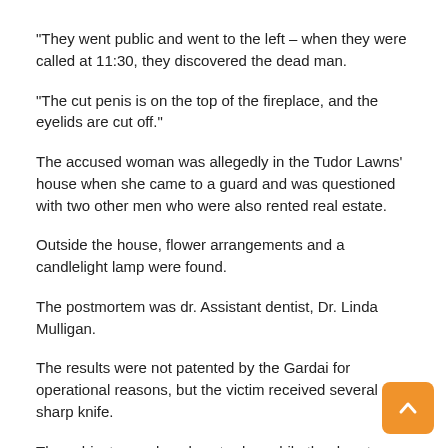"They went public and went to the left – when they were called at 11:30, they discovered the dead man.
"The cut penis is on the top of the fireplace, and the eyelids are cut off."
The accused woman was allegedly in the Tudor Lawns' house when she came to a guard and was questioned with two other men who were also rented real estate.
Outside the house, flower arrangements and a candlelight lamp were found.
The postmortem was dr. Assistant dentist, Dr. Linda Mulligan.
The results were not patented by the Gardai for operational reasons, but the victim received several sharp knife.
The subject was closed yesterday, while the door-to-door investigations took place on the premises of the protesting Tudor